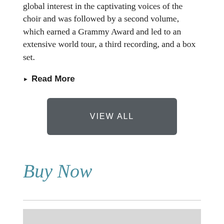global interest in the captivating voices of the choir and was followed by a second volume, which earned a Grammy Award and led to an extensive world tour, a third recording, and a box set.
▶ Read More
[Figure (other): Dark gray button with text VIEW ALL]
Buy Now
horizontal divider line